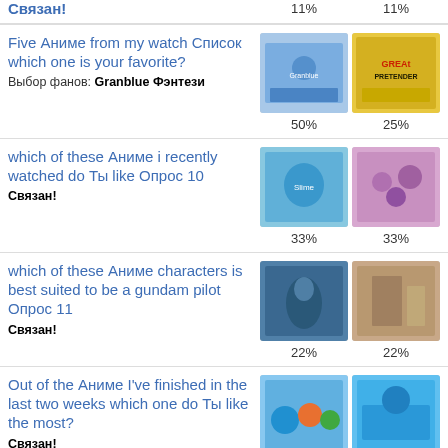Связан! 11% 11%
Five Аниме from my watch Список which one is your favorite?
Выбор фанов: Granblue Фэнтези
50% 25%
which of these Аниме i recently watched do Ты like Опрос 10
Связан!
33% 33%
which of these Аниме characters is best suited to be a gundam pilot Опрос 11
Связан!
22% 22%
Out of the Аниме I've finished in the last two weeks which one do Ты like the most?
Связан!
29% 29%
which of these Аниме characters is best suited to be a gundam pilot